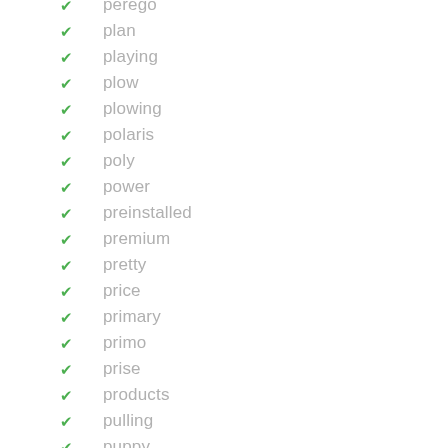perego
plan
playing
plow
plowing
polaris
poly
power
preinstalled
premium
pretty
price
primary
primo
prise
products
pulling
puppy